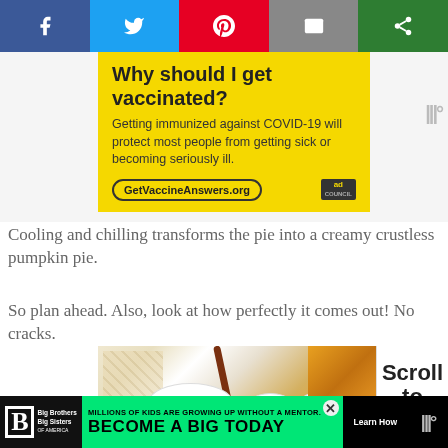[Figure (screenshot): Social media share bar with Facebook, Twitter, Pinterest, Email, and other share buttons]
[Figure (screenshot): Yellow advertisement banner: Why should I get vaccinated? Getting immunized against COVID-19 will protect most people from getting sick or becoming seriously ill. GetVaccineAnswers.org - Ad Council]
Cooling and chilling transforms the pie into a creamy crustless pumpkin pie.
So plan ahead. Also, look at how perfectly it comes out! No cracks.
[Figure (photo): Food photo showing baking ingredients: white bowls, cinnamon sticks, spice/brown sugar in bowl with wooden spoon, pumpkin in background]
[Figure (screenshot): Big Brothers Big Sisters advertisement: Millions of kids are growing up without a mentor. Become a Big Today. Learn How.]